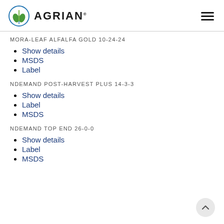AGRIAN
MORA-LEAF ALFALFA GOLD 10-24-24
Show details
MSDS
Label
NDEMAND POST-HARVEST PLUS 14-3-3
Show details
Label
MSDS
NDEMAND TOP END 26-0-0
Show details
Label
MSDS